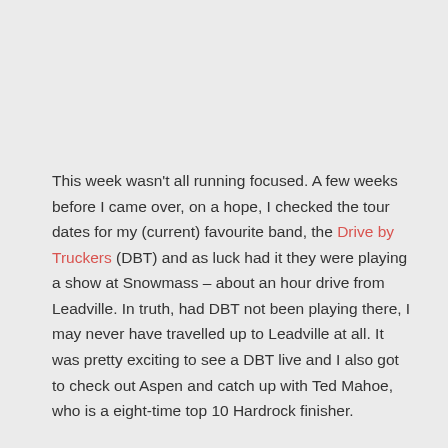This week wasn't all running focused. A few weeks before I came over, on a hope, I checked the tour dates for my (current) favourite band, the Drive by Truckers (DBT) and as luck had it they were playing a show at Snowmass – about an hour drive from Leadville. In truth, had DBT not been playing there, I may never have travelled up to Leadville at all. It was pretty exciting to see a DBT live and I also got to check out Aspen and catch up with Ted Mahoe, who is a eight-time top 10 Hardrock finisher.